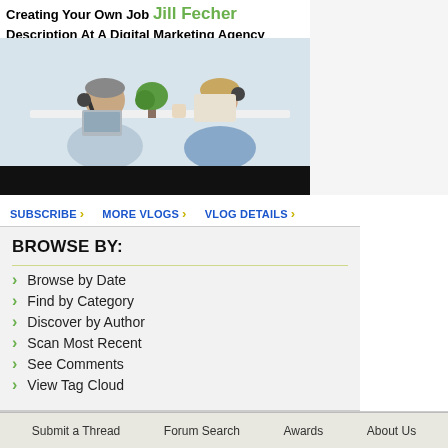[Figure (photo): Video thumbnail showing two people in a podcast interview setting at a white table with microphones and a laptop, with text overlay 'Creating Your Own Job Description At A Digital Marketing Agency' and name 'Jill Fecher' in green]
SUBSCRIBE › MORE VLOGS › VLOG DETAILS ›
BROWSE BY:
Browse by Date
Find by Category
Discover by Author
Scan Most Recent
See Comments
View Tag Cloud
Submit a Thread   Forum Search   Awards   About Us